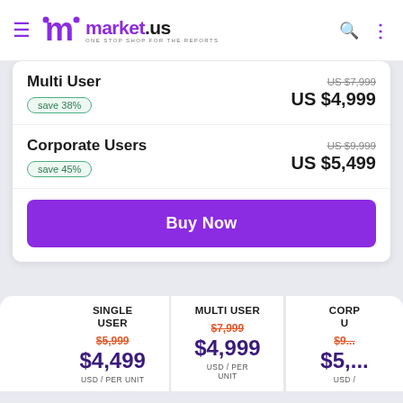market.us — ONE STOP SHOP FOR THE REPORTS
Multi User — save 38% — US $7,999 (original) — US $4,999
Corporate Users — save 45% — US $9,999 (original) — US $5,499
Buy Now
|  | SINGLE USER | MULTI USER | CORP U... |
| --- | --- | --- | --- |
|  | $5,999 (orig) $4,499 USD / PER UNIT | $7,999 (orig) $4,999 USD / PER UNIT | $9... $5,... USD /... |